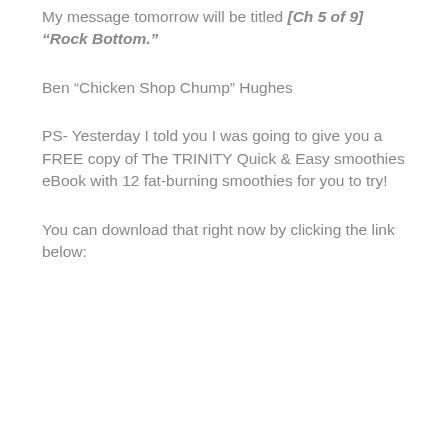My message tomorrow will be titled [Ch 5 of 9] "Rock Bottom."
Ben “Chicken Shop Chump” Hughes
PS- Yesterday I told you I was going to give you a FREE copy of The TRINITY Quick & Easy smoothies eBook with 12 fat-burning smoothies for you to try!
You can download that right now by clicking the link below: